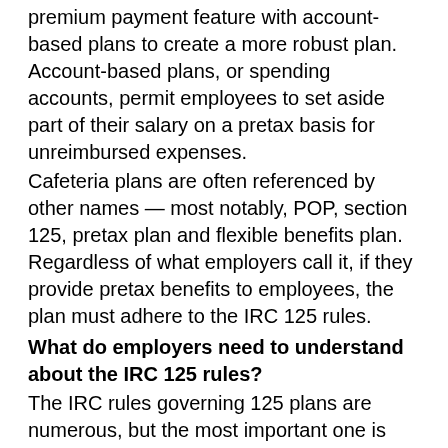premium payment feature with account-based plans to create a more robust plan. Account-based plans, or spending accounts, permit employees to set aside part of their salary on a pretax basis for unreimbursed expenses.
Cafeteria plans are often referenced by other names — most notably, POP, section 125, pretax plan and flexible benefits plan. Regardless of what employers call it, if they provide pretax benefits to employees, the plan must adhere to the IRC 125 rules.
What do employers need to understand about the IRC 125 rules?
The IRC rules governing 125 plans are numerous, but the most important one is that the cafeteria plan must be established pursuant to a written plan instrument, known as a plan document. Any changes made to the plan also must be set out in writing. This establishes the terms, procedures, the